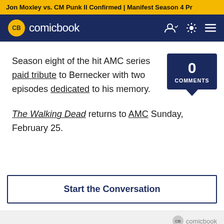Jon Moxley vs. CM Punk II Confirmed | Manifest Season 4 Pr
[Figure (logo): ComicBook.com logo with yellow CB badge and white text on dark navy navigation bar]
Season eight of the hit AMC series paid tribute to Bernecker with two episodes dedicated to his memory.
The Walking Dead returns to AMC Sunday, February 25.
0 COMMENTS
Start the Conversation
[Figure (logo): ComicBook.com small footer logo]